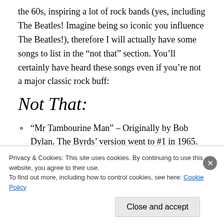the 60s, inspiring a lot of rock bands (yes, including The Beatles! Imagine being so iconic you influence The Beatles!), therefore I will actually have some songs to list in the “not that” section. You’ll certainly have heard these songs even if you’re not a major classic rock buff:
Not That:
“Mr Tambourine Man” – Originally by Bob Dylan. The Byrds’ version went to #1 in 1965. They changed it up, shortening it and singing it in a
Privacy & Cookies: This site uses cookies. By continuing to use this website, you agree to their use.
To find out more, including how to control cookies, see here: Cookie Policy